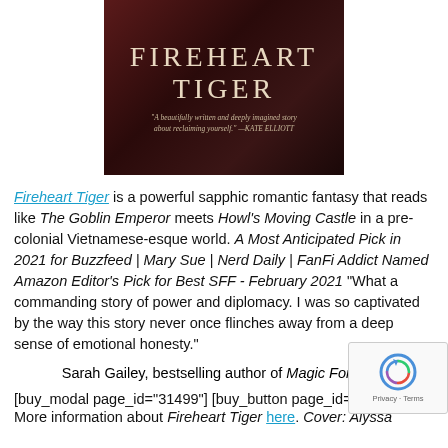[Figure (illustration): Book cover of 'Fireheart Tiger' with dark red background showing the title in large serif letters and a blurb from Kate Elliott: 'A beautifully written and deeply imagined story about reclaiming yourself.']
Fireheart Tiger is a powerful sapphic romantic fantasy that reads like The Goblin Emperor meets Howl's Moving Castle in a pre-colonial Vietnamese-esque world. A Most Anticipated Pick in 2021 for Buzzfeed | Mary Sue | Nerd Daily | FanFi Addict Named Amazon Editor's Pick for Best SFF - February 2021 "What a commanding story of power and diplomacy. I was so captivated by the way this story never once flinches away from a deep sense of emotional honesty."
Sarah Gailey, bestselling author of Magic For Liars
[buy_modal page_id="31499"] [buy_button page_id="31...
More information about Fireheart Tiger here. Cover: Alyssa